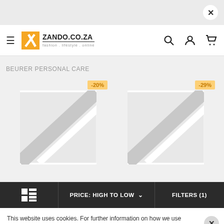[Figure (screenshot): Zando.co.za e-commerce website screenshot showing Beurer Personal Care category with two product cards showing -20% and -29% discounts, a bottom toolbar with price sort and filters, and a cookie notice banner]
ZANDO.CO.ZA fashion . lifestyle . online
BEURER PERSONAL CARE
PRICE: HIGH TO LOW
FILTERS (1)
This website uses cookies. For further information on how we use cookies you can read our Privacy and Cookie notice